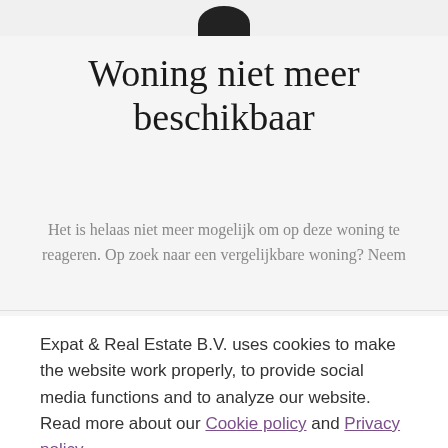[Figure (logo): Partial dark circular logo at top center, cropped at top of page]
Woning niet meer beschikbaar
Het is helaas niet meer mogelijk om op deze woning te reageren. Op zoek naar een vergelijkbare woning? Neem
Expat & Real Estate B.V. uses cookies to make the website work properly, to provide social media functions and to analyze our website. Read more about our Cookie policy and Privacy policy.
ACCEPT AND CLOSE